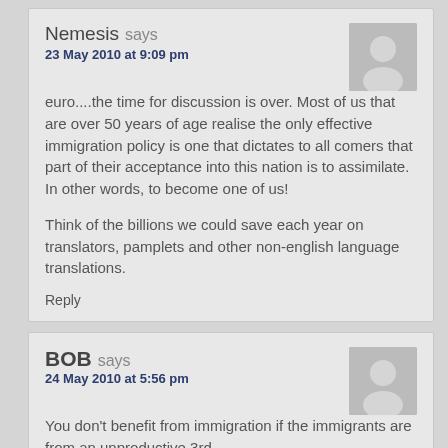Nemesis says
23 May 2010 at 9:09 pm
euro....the time for discussion is over. Most of us that are over 50 years of age realise the only effective immigration policy is one that dictates to all comers that part of their acceptance into this nation is to assimilate. In other words, to become one of us!

Think of the billions we could save each year on translators, pamplets and other non-english language translations.
Reply
BOB says
24 May 2010 at 5:56 pm
You don't benefit from immigration if the immigrants are from an unproductive 3rd